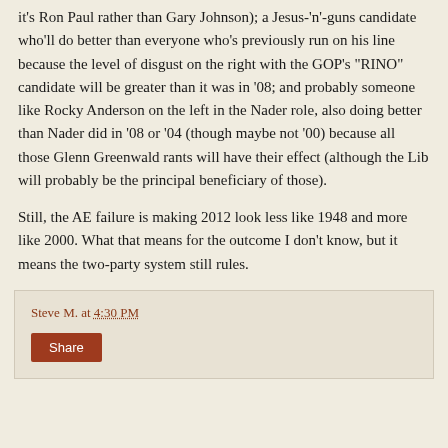it's Ron Paul rather than Gary Johnson); a Jesus-'n'-guns candidate who'll do better than everyone who's previously run on his line because the level of disgust on the right with the GOP's "RINO" candidate will be greater than it was in '08; and probably someone like Rocky Anderson on the left in the Nader role, also doing better than Nader did in '08 or '04 (though maybe not '00) because all those Glenn Greenwald rants will have their effect (although the Lib will probably be the principal beneficiary of those).
Still, the AE failure is making 2012 look less like 1948 and more like 2000. What that means for the outcome I don't know, but it means the two-party system still rules.
Steve M. at 4:30 PM
Share